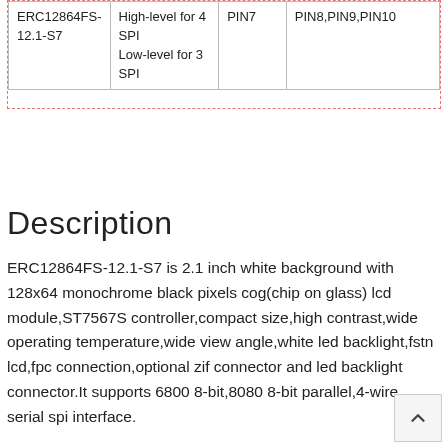|  | High-level for 4 SPI Low-level for 3 SPI | PIN7 | PIN8,PIN9,PIN10 |
| --- | --- | --- | --- |
| ERC12864FS-12.1-S7 | High-level for 4 SPI Low-level for 3 SPI | PIN7 | PIN8,PIN9,PIN10 |
Description
ERC12864FS-12.1-S7 is 2.1 inch white background with 128x64 monochrome black pixels cog(chip on glass) lcd module,ST7567S controller,compact size,high contrast,wide operating temperature,wide view angle,white led backlight,fstn lcd,fpc connection,optional zif connector and led backlight connector.It supports 6800 8-bit,8080 8-bit parallel,4-wire serial spi interface.